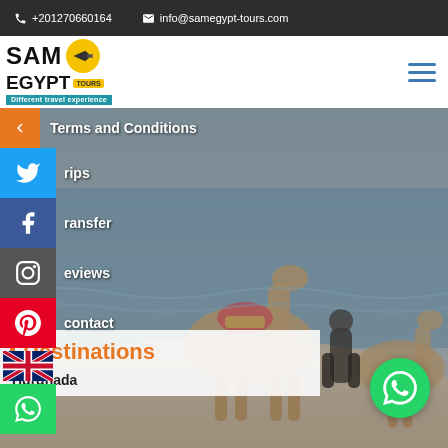+201270660164  info@samegypt-tours.com
[Figure (logo): SAM Egypt Tours logo with airplane icon and tagline 'Different travel experience']
[Figure (photo): Background photo of camels and people on rocky shore by the sea]
Terms and Conditions
rips
ransfer
eviews
contact
Destinations
Hurghada